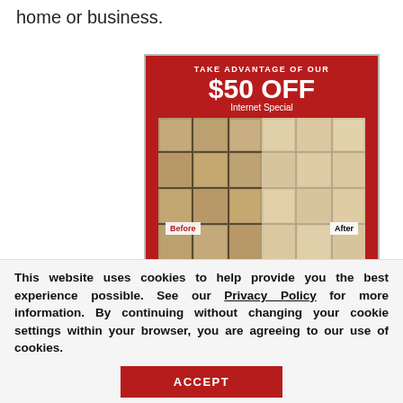home or business.
[Figure (infographic): Advertisement banner: red background with 'TAKE ADVANTAGE OF OUR $50 OFF Internet Special' text, before/after photo of tile cleaning, 'On jobs $500' text, and 'Request a Free' button with close X]
This website uses cookies to help provide you the best experience possible. See our Privacy Policy for more information. By continuing without changing your cookie settings within your browser, you are agreeing to our use of cookies.
ACCEPT